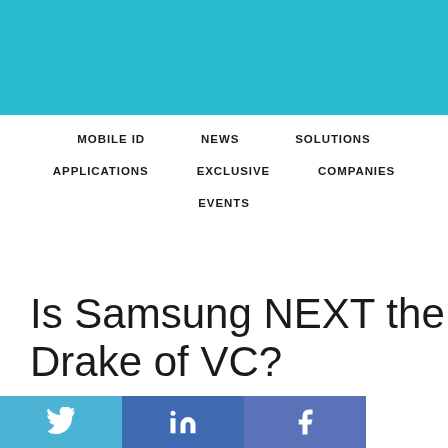[Figure (other): Solid teal/cyan colored header bar at top of page]
MOBILE ID   NEWS   SOLUTIONS   APPLICATIONS   EXCLUSIVE   COMPANIES   EVENTS
Is Samsung NEXT the Drake of VC?
[Figure (other): Social share bar with Twitter, LinkedIn, and Facebook buttons]